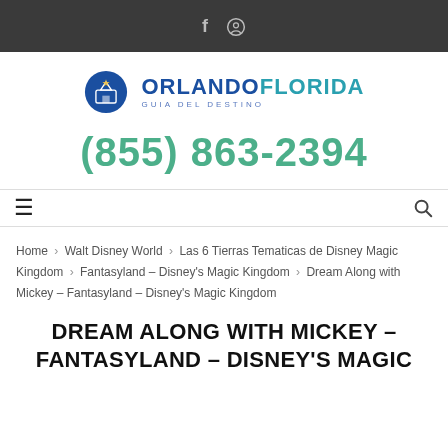f  ⊕
[Figure (logo): Orlando Florida Guia del Destino logo — blue circle with castle and star icon, text ORLANDOFLORIDA in blue/teal with GUIA DEL DESTINO subtitle]
(855) 863-2394
≡  🔍
Home > Walt Disney World > Las 6 Tierras Tematicas de Disney Magic Kingdom > Fantasyland – Disney's Magic Kingdom > Dream Along with Mickey – Fantasyland – Disney's Magic Kingdom
DREAM ALONG WITH MICKEY – FANTASYLAND – DISNEY'S MAGIC